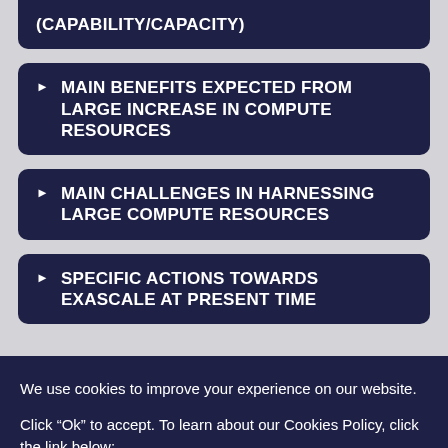(CAPABILITY/CAPACITY)
MAIN BENEFITS EXPECTED FROM LARGE INCREASE IN COMPUTE RESOURCES
MAIN CHALLENGES IN HARNESSING LARGE COMPUTE RESOURCES
SPECIFIC ACTIONS TOWARDS EXASCALE AT PRESENT TIME
We use cookies to improve your experience on our website.
Click “Ok” to accept. To learn about our Cookies Policy, click the link below:
More information